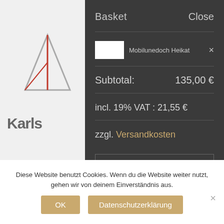[Figure (screenshot): Left sidebar showing partial Karls logo and navigation links (Impressum, AGB, Datenschutz) on gray background]
Basket    Close
Mobilunedoch Heikat  ×
Subtotal:    135,00 €
incl. 19% VAT : 21,55 €
zzgl. Versandkosten
Diese Website benutzt Cookies. Wenn du die Website weiter nutzt, gehen wir von deinem Einverständnis aus.
OK    Datenschutzerklärung